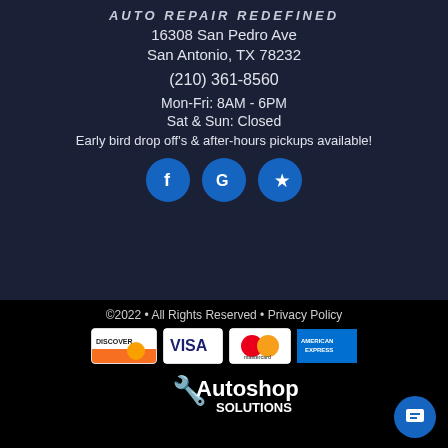AUTO REPAIR REDEFINED
16308 San Pedro Ave
San Antonio, TX 78232
(210) 361-8560
Mon-Fri: 8AM - 6PM
Sat & Sun: Closed
Early bird drop off's & after-hours pickups available!
[Figure (infographic): Three blue circular social media icons: Facebook (f), Google (G), and Yelp (lightning bolt/star)]
©2022 • All Rights Reserved • Privacy Policy
[Figure (logo): Payment card logos: Discover, Visa, Mastercard, American Express]
[Figure (logo): Autoshop Solutions logo with wrench/piston icon and white text]